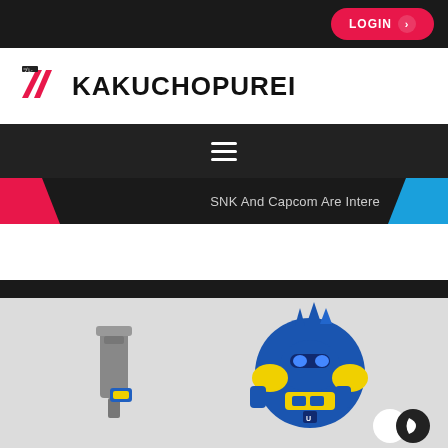LOGIN
KAKUCHOPUREI
[Figure (screenshot): Kakuchopurei website logo with Japanese katakana icon and bold text]
[Figure (screenshot): Navigation bar with hamburger menu icon on dark background]
SNK And Capcom Are Inter...
[Figure (photo): Blue and yellow robot/mech action figures on light gray background]